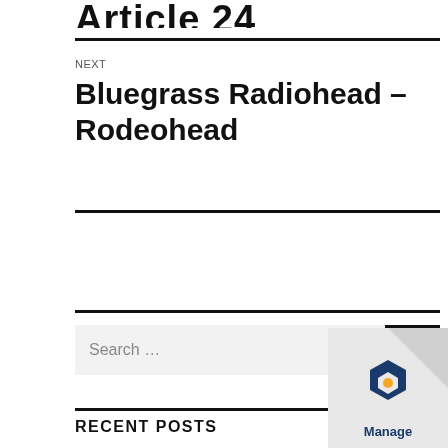Article 24
NEXT
Bluegrass Radiohead – Rodeohead
Search ...
RECENT POSTS
[Figure (logo): Manage badge logo in bottom right corner]